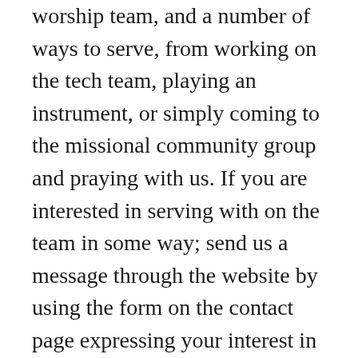worship team, and a number of ways to serve, from working on the tech team, playing an instrument, or simply coming to the missional community group and praying with us. If you are interested in serving with on the team in some way; send us a message through the website by using the form on the contact page expressing your interest in getting involved; speak with Seth on Sunday mornings and let him know your interest in getting involved with the team; or come to the worship community group on Wednesday nights and meet the team, learn about our